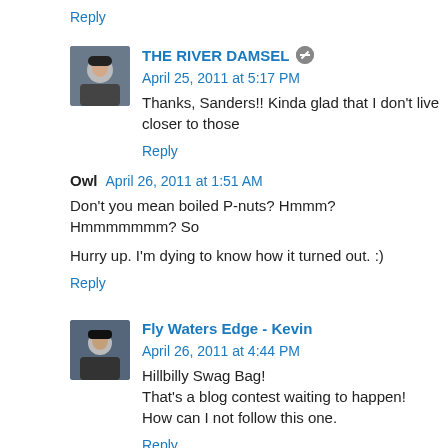Reply
THE RIVER DAMSEL  April 25, 2011 at 5:17 PM
Thanks, Sanders!! Kinda glad that I don't live closer to those
Reply
Owl  April 26, 2011 at 1:51 AM
Don't you mean boiled P-nuts? Hmmm? Hmmmmmmm? So
Hurry up. I'm dying to know how it turned out. :)
Reply
Fly Waters Edge - Kevin  April 26, 2011 at 4:44 PM
Hillbilly Swag Bag!
That's a blog contest waiting to happen!
How can I not follow this one.
Reply